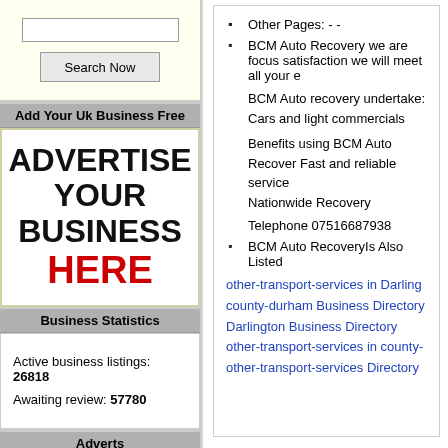[Figure (other): Search input box and Search Now button]
Add Your Uk Business Free
[Figure (infographic): Advertise Your Business HERE ad block with bold black and red text]
Business Statistics
Active business listings: 26818
Awaiting review: 57780
Adverts
Other Pages: - -
BCM Auto Recovery we are focus satisfaction we will meet all your e

BCM Auto recovery undertake:
Cars and light commercials

Benefits using BCM Auto Recover Fast and reliable service
Nationwide Recovery

Telephone 07516687938
BCM Auto RecoveryIs Also Listed
other-transport-services in Darling county-durham Business Directory
Darlington Business Directory
other-transport-services in county-
other-transport-services Directory